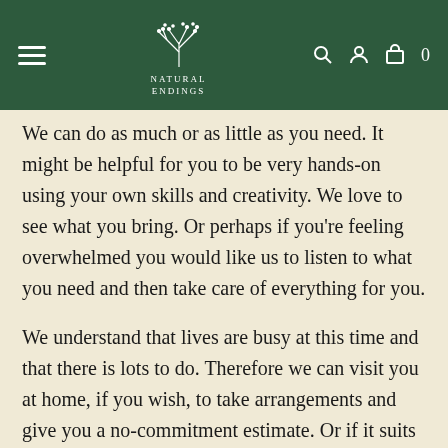Natural Endings
We can do as much or as little as you need. It might be helpful for you to be very hands-on using your own skills and creativity. We love to see what you bring. Or perhaps if you're feeling overwhelmed you would like us to listen to what you need and then take care of everything for you.
We understand that lives are busy at this time and that there is lots to do. Therefore we can visit you at home, if you wish, to take arrangements and give you a no-commitment estimate. Or if it suits you better you can make an appointment to come and see us.